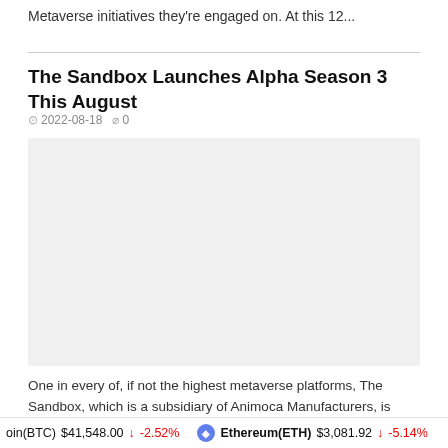Metaverse initiatives they're engaged on. At this 12...
The Sandbox Launches Alpha Season 3 This August
2022-08-18   0
[Figure (photo): Article thumbnail image placeholder (light gray background)]
One in every of, if not the highest metaverse platforms, The Sandbox, which is a subsidiary of Animoca Manufacturers, is launching Alpha Season 3 sooner or later this...
oin(BTC) $41,548.00 ↓ -2.52%   Ethereum(ETH) $3,081.92 ↓ -5.14%